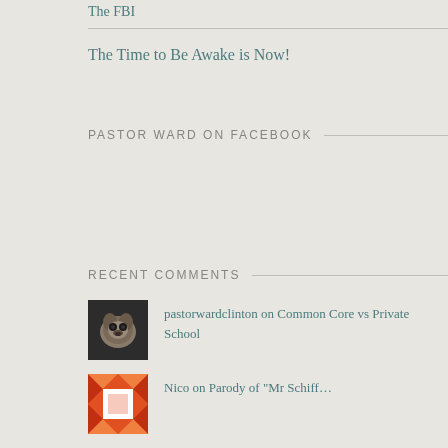The FBI
The Time to Be Awake is Now!
PASTOR WARD ON FACEBOOK
RECENT COMMENTS
pastorwardclinton on Common Core vs Private School
Nico on Parody of "Mr Schiff..."
Alice on Dodd
pastorwardclinton on John